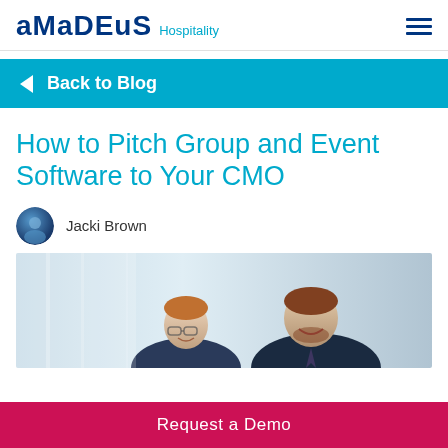Amadeus Hospitality
Back to Blog
How to Pitch Group and Event Software to Your CMO
Jacki Brown
[Figure (photo): Two businessmen in suits smiling and looking at something off-camera, in an office setting with soft light background.]
Request a Demo